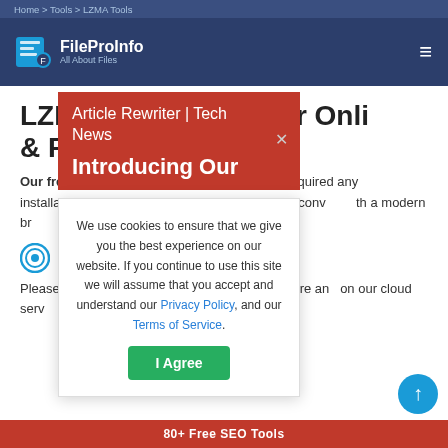Home > Tools > LZMA Tools
[Figure (logo): FileProInfo All About Files logo with blue file icon]
LZMA Converter Online & Free
Our free lzma converter online tool does not required any installation on your system, 100% lzma compressed file (.lzma) converter with a modern browser toolbox.
Free ...
Please select a file to convert from LZMA or LZMA to ... 100% secure and ... on our cloud serv... in case yo... you
[Figure (screenshot): Red popup banner: Article Rewriter | Tech News with X close button and 'Introducing Our' text]
[Figure (screenshot): Cookie consent dialog: We use cookies to ensure that we give you the best experience on our website. If you continue to use this site we will assume that you accept and understand our Privacy Policy, and our Terms of Service. With I Agree button.]